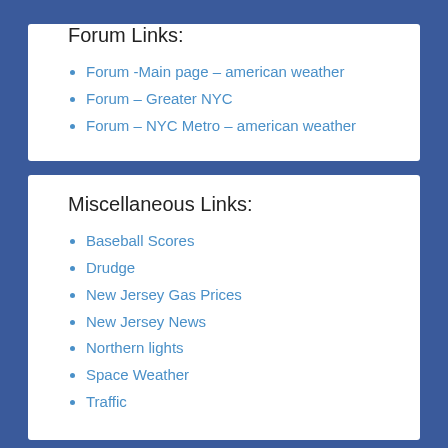Forum Links:
Forum -Main page – american weather
Forum – Greater NYC
Forum – NYC Metro – american weather
Miscellaneous Links:
Baseball Scores
Drudge
New Jersey Gas Prices
New Jersey News
Northern lights
Space Weather
Traffic
Model Links: